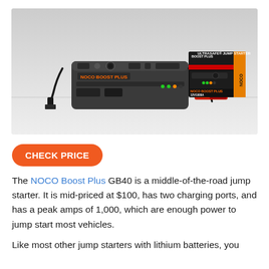[Figure (photo): NOCO Boost Plus GB40 jump starter device with clamps and charging cable, alongside its retail box showing 'ULTRASAFE JUMP STARTER' branding, on a white surface with light gray background.]
CHECK PRICE
The NOCO Boost Plus GB40 is a middle-of-the-road jump starter. It is mid-priced at $100, has two charging ports, and has a peak amps of 1,000, which are enough power to jump start most vehicles.
Like most other jump starters with lithium batteries, you